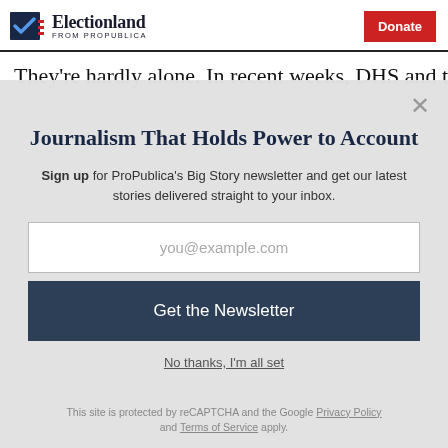Electionland FROM PROPUBLICA | Donate
They're hardly alone. In recent weeks, DHS and the FBI
Journalism That Holds Power to Account
Sign up for ProPublica's Big Story newsletter and get our latest stories delivered straight to your inbox.
you@example.com
Get the Newsletter
No thanks, I'm all set
This site is protected by reCAPTCHA and the Google Privacy Policy and Terms of Service apply.